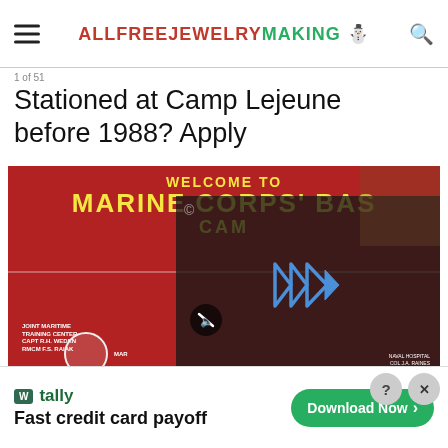ALLFREEJEWELRYMAKING
1 of 51
Stationed at Camp Lejeune before 1988? Apply
[Figure (photo): Red Welcome to Marine Corps Base Camp Lejeune sign with military unit badges/seals at bottom, overlaid with a dark video player panel showing a play button and mute icon]
Fast credit card payoff - Tally - Download Now